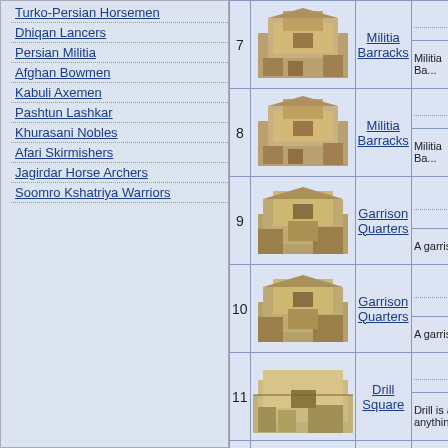77. Turko-Persian Horsemen
78. Dhiqan Lancers
79. Persian Militia
80. Afghan Bowmen
81. Kabuli Axemen
82. Pashtun Lashkar
83. Khurasani Nobles
84. Afari Skirmishers
85. Jagirdar Horse Archers
86. Soomro Kshatriya Warriors
| # | Image | Name | Description |
| --- | --- | --- | --- |
| 7 | [building image] | Militia Barracks | 1
Militia Ba... |
| 8 | [building image] | Militia Barracks | 1
Militia Ba... |
| 9 | [building image] | Garrison Quarters | 1
A garris... |
| 10 | [building image] | Garrison Quarters | 1
A garris... |
| 11 | [building image] | Drill Square | 1
Drill is a anything... |
| 12 | [building image] | Drill Square | 1
Drill is a anything... |
| 13 | [building image] | Barracks | 1
Barrack... |